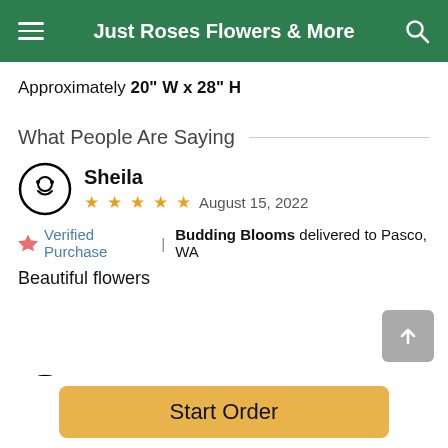Just Roses Flowers & More
Approximately 20" W x 28" H
What People Are Saying
Sheila
★★★★★  August 15, 2022
Verified Purchase | Budding Blooms delivered to Pasco, WA
Beautiful flowers
Anthony
August 05, 2022